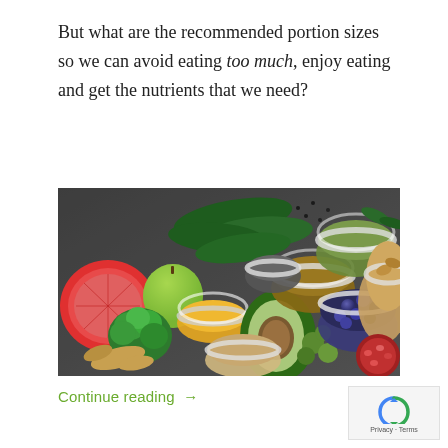But what are the recommended portion sizes so we can avoid eating too much, enjoy eating and get the nutrients that we need?
[Figure (photo): Overhead view of various healthy foods including fruits, vegetables, nuts, seeds, and legumes in white bowls on a dark background. Visible items include grapefruit, green apple, broccoli, spinach, avocado, blueberries, almonds, ginger, turmeric, flaxseeds, mung beans, chia seeds, and oats.]
Continue reading →